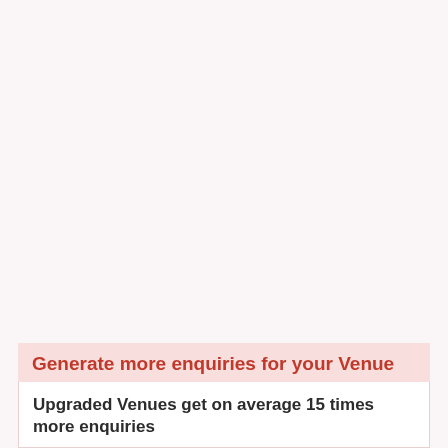Generate more enquiries for your Venue
Upgraded Venues get on average 15 times more enquiries